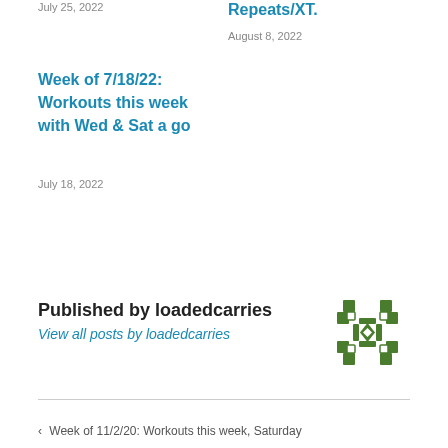July 25, 2022
Repeats/XT.
August 8, 2022
Week of 7/18/22: Workouts this week with Wed & Sat a go
July 18, 2022
Published by loadedcarries
View all posts by loadedcarries
[Figure (logo): Green geometric quilt-pattern circular logo for loadedcarries]
< Week of 11/2/20: Workouts this week, Saturday